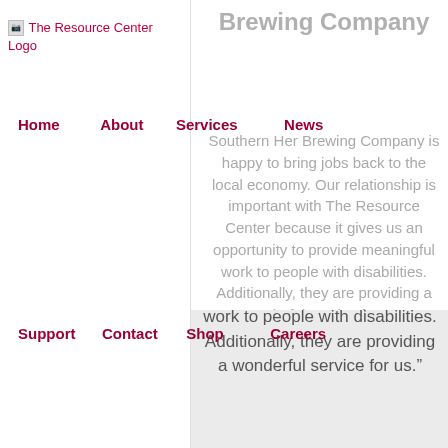[Figure (logo): The Resource Center Logo placeholder image with alt text]
Brewing Company
Home   About   Services   News
Southern Her Brewing Company is happy to bring jobs back to the local economy. Our relationship is important with The Resource Center because it gives us an opportunity to provide meaningful work to people with disabilities. Additionally, they are providing a wonderful service for us.”
Support   Contact   Shop   Careers
DONATE